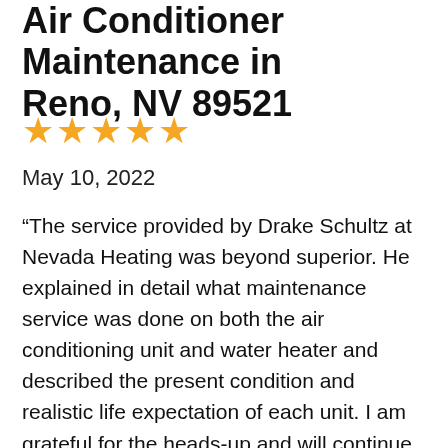Air Conditioner Maintenance in Reno, NV 89521
[Figure (other): Five gold star rating icons]
May 10, 2022
“The service provided by Drake Schultz at Nevada Heating was beyond superior. He explained in detail what maintenance service was done on both the air conditioning unit and water heater and described the present condition and realistic life expectation of each unit. I am grateful for the heads-up and will continue to call on Nevada Heating for service and repairs.”